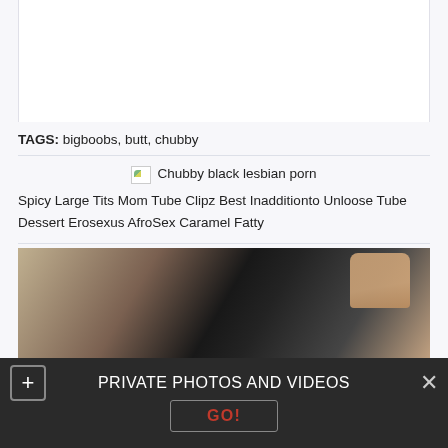TAGS: bigboobs, butt, chubby
[Figure (screenshot): Broken image placeholder with alt text 'Chubby black lesbian porn']
Spicy Large Tits Mom Tube Clipz Best Inadditionto Unloose Tube Dessert Erosexus AfroSex Caramel Fatty
[Figure (photo): Thumbnail photo showing partial view of a room and hands raised]
PRIVATE PHOTOS AND VIDEOS
GO!